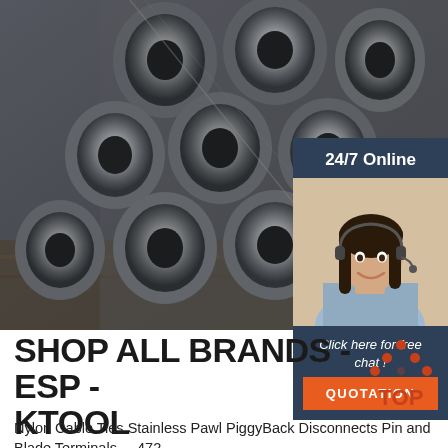[Figure (photo): Bundle of steel/metal pipes stacked together, viewed from the end showing circular cross-sections, industrial setting]
[Figure (infographic): 24/7 Online chat widget with female customer service agent wearing headset, dark blue background with 'Click here for free chat!' text and orange QUOTATION button]
SHOP ALL BRANDS - ESP - KTOOL
[Figure (illustration): TOP arrow icon in orange/red dots with the word TOP below]
Nylon Cable Ties Stainless Pawl PiggyBack Disconnects Pin and Blade Terminals ... 472